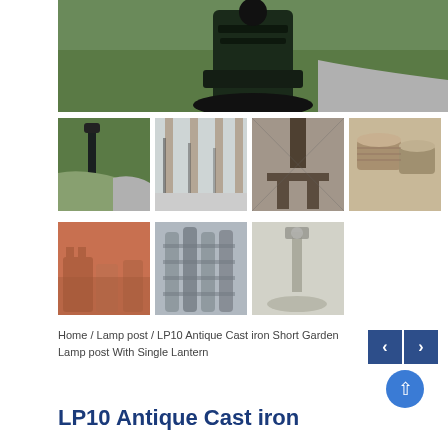[Figure (photo): Close-up of a black cast iron lamp post base on green grass with a path visible]
[Figure (photo): Thumbnail: Full lamp post in park setting]
[Figure (photo): Thumbnail: Tree-lined path with lamp posts in fog]
[Figure (photo): Thumbnail: Cast iron lamp posts indoors showing detail]
[Figure (photo): Thumbnail: Stack of cast iron lamp post bases]
[Figure (photo): Thumbnail: Ornamental cast iron pieces in red/terracotta color]
[Figure (photo): Thumbnail: Multiple grey cast iron columns/posts stacked]
[Figure (photo): Thumbnail: Post with lantern in outdoor setting]
Home / Lamp post / LP10 Antique Cast iron Short Garden Lamp post With Single Lantern
LP10 Antique Cast iron